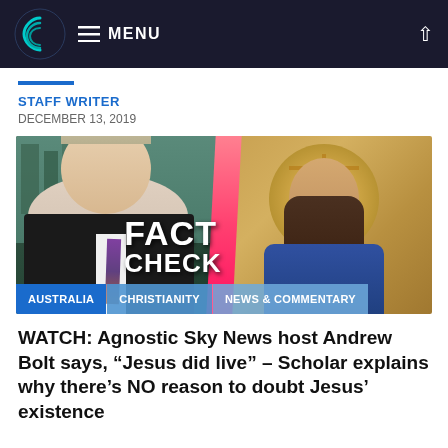MENU
STAFF WRITER
DECEMBER 13, 2019
[Figure (photo): Split image showing a news presenter on the left with city background, and a Byzantine mosaic of Jesus Christ on the right, with 'FACT CHECK' text overlaid in the center, and category tags AUSTRALIA, CHRISTIANITY, NEWS & COMMENTARY at the bottom]
WATCH: Agnostic Sky News host Andrew Bolt says, “Jesus did live” – Scholar explains why there’s NO reason to doubt Jesus’ existence